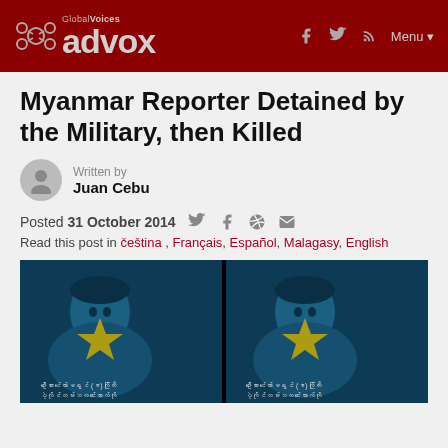Global Voices advox | Menu
Myanmar Reporter Detained by the Military, then Killed
Written by Juan Cebu
Posted 31 October 2014
Read this post in čeština , Français, Español, Malagasy, English
[Figure (photo): Blue-tinted photo of a young man with a yellow star, shown twice side by side, with Myanmar script caption below each copy]